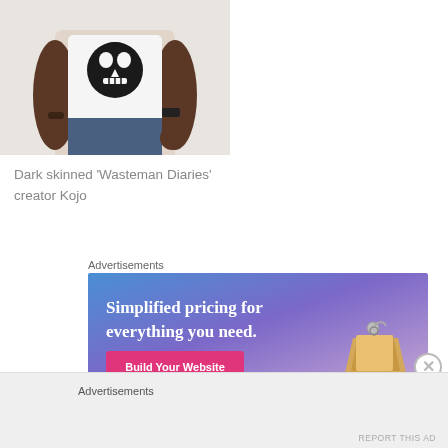[Figure (photo): A dark-skinned man wearing a white t-shirt with a skull print and jeans, with a watch and bracelet, photographed from torso up against a light background]
Dark skinned ‘Wasteman Diaries’ creator Kojo
Advertisements
[Figure (screenshot): Advertisement banner with gradient blue-purple background reading 'Simplified pricing for everything you need.' with a pink 'Build Your Website' button and a price tag image on the right]
Advertisements
REPORT THIS AD